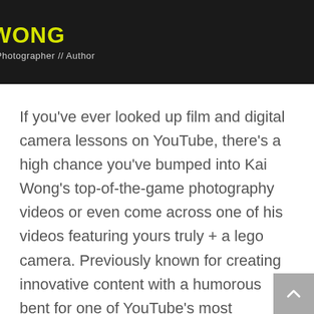[Figure (photo): Dark banner image showing Kai Wong with yellow bold text 'KAI WONG' and subtitle 'YouTuber // Photographer // Author' in grey text on dark background]
If you've ever looked up film and digital camera lessons on YouTube, there's a high chance you've bumped into Kai Wong's top-of-the-game photography videos or even come across one of his videos featuring yours truly + a lego camera. Previously known for creating innovative content with a humorous bent for one of YouTube's most subscribed photography channels, DigitalRev, Kai quit his seven-year-long association with the Media House in 2016. After stepping down as the company's...